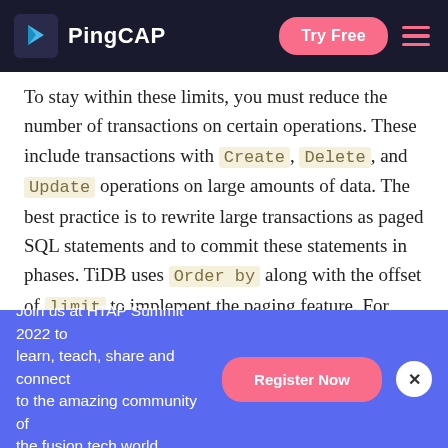PingCAP — Try Free
To stay within these limits, you must reduce the number of transactions on certain operations. These include transactions with Create, Delete, and Update operations on large amounts of data. The best practice is to rewrite large transactions as paged SQL statements and to commit these statements in phases. TiDB uses Order by along with the offset of limit to implement the paging feature. For example:
Join us at HTAP Summit 2022 to learn, teach, share and connect to the amazing community of the fusion tech world.